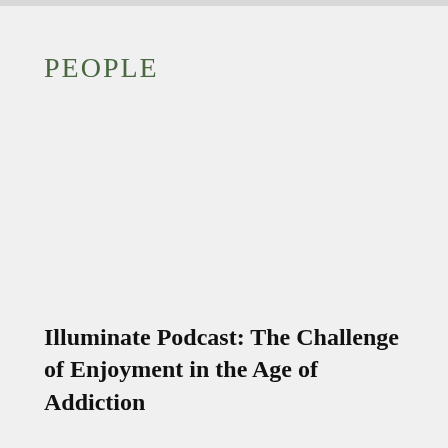PEOPLE
Illuminate Podcast: The Challenge of Enjoyment in the Age of Addiction